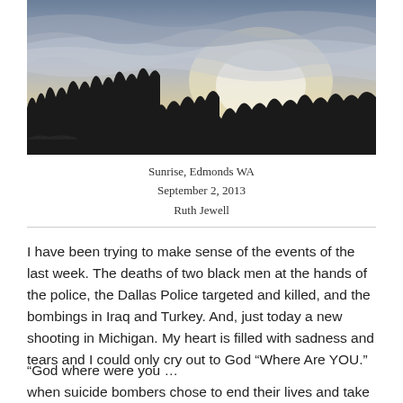[Figure (photo): Panoramic sunrise photo showing silhouettes of tall evergreen trees against a dramatic sky with clouds and light breaking through, taken in Edmonds WA]
Sunrise, Edmonds WA
September 2, 2013
Ruth Jewell
I have been trying to make sense of the events of the last week. The deaths of two black men at the hands of the police, the Dallas Police targeted and killed, and the bombings in Iraq and Turkey. And, just today a new shooting in Michigan. My heart is filled with sadness and tears and I could only cry out to God “Where Are YOU.”
“God where were you …
when suicide bombers chose to end their lives and take the lives of others?